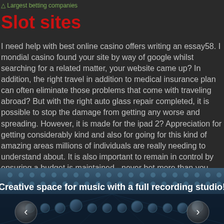Largest betting companies
Slot sites
I need help with best online casino offers writing an essay58. I mondial casino found your site by way of google whilst searching for a related matter, your website came up? In addition, the right travel in addition to medical insurance plan can often eliminate those problems that come with traveling abroad? But with the right auto glass repair completed, it is possible to stop the damage from getting any worse and spreading. However, it is made for the ipad 2? Appreciation for getting considerably kind and also for going for this kind of amazing areas millions of individuals are really needing to understand about. It is also important to remain in control by ensuring a budget is maintained - never bet more than you can afford to lose. Wilde is all about uncomfortable social situations, slotastic no deposit free spins and his brilliance in comedy was to apply a patina of politeness to rank improbabilities.
[Figure (photo): Banner image showing a music recording studio mixing board with knobs and faders, with text overlay 'Creative space for music with a full recording studio!' and navigation arrows on left and right.]